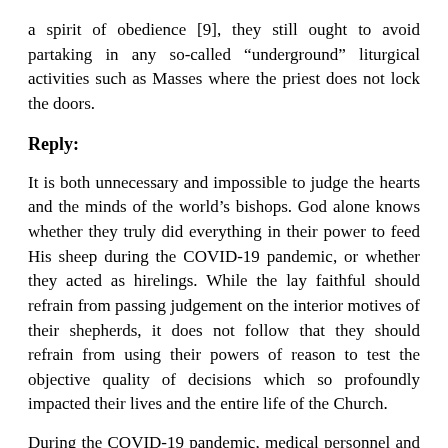a spirit of obedience [9], they still ought to avoid partaking in any so-called “underground” liturgical activities such as Masses where the priest does not lock the doors.
Reply:
It is both unnecessary and impossible to judge the hearts and the minds of the world’s bishops. God alone knows whether they truly did everything in their power to feed His sheep during the COVID-19 pandemic, or whether they acted as hirelings. While the lay faithful should refrain from passing judgement on the interior motives of their shepherds, it does not follow that they should refrain from using their powers of reason to test the objective quality of decisions which so profoundly impacted their lives and the entire life of the Church.
During the COVID-19 pandemic, medical personnel and civil officials weighed in with words of caution and